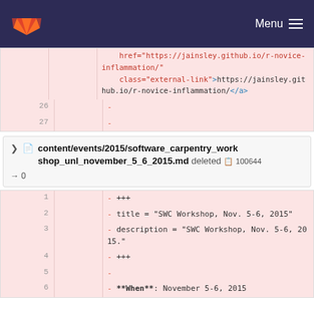GitLab navigation bar with logo and Menu
[Figure (screenshot): Code diff view showing HTML href and class attributes with syntax highlighting, line numbers 26 and 27]
content/events/2015/software_carpentry_workshop_unl_november_5_6_2015.md deleted 100644
→ 0
[Figure (screenshot): Code diff showing deleted file content: +++, title, description, +++, blank, **When**: November 5-6, 2015 lines 1-6]